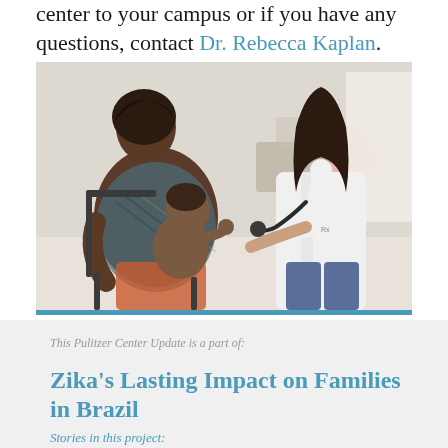center to your campus or if you have any questions, contact Dr. Rebecca Kaplan.
[Figure (photo): A woman holding a young child on her lap while a doctor in a white lab coat examines the child in a clinical setting.]
This Pulitzer Center Update is a part of:
Zika's Lasting Impact on Families in Brazil
Stories in this project: